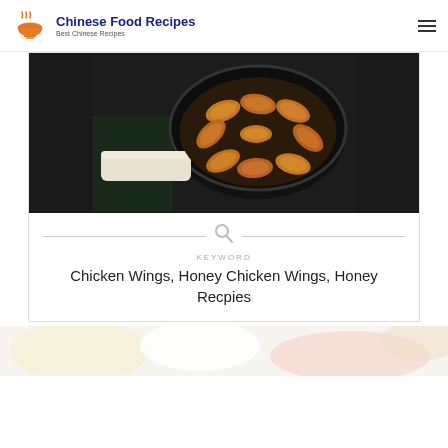Chinese Food Recipes — Best Chinese Recipes
[Figure (photo): Chicken wings frying in a black pan with white handle on a dark stovetop]
KEYWORD
Chicken Wings, Honey Chicken Wings, Honey Recpies
[Figure (photo): Partial view of food dish, blurred, at bottom of page]